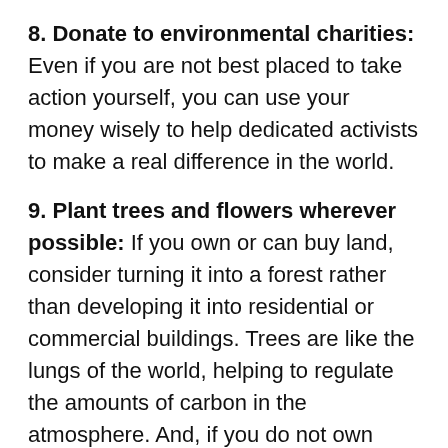8. Donate to environmental charities: Even if you are not best placed to take action yourself, you can use your money wisely to help dedicated activists to make a real difference in the world.
9. Plant trees and flowers wherever possible: If you own or can buy land, consider turning it into a forest rather than developing it into residential or commercial buildings. Trees are like the lungs of the world, helping to regulate the amounts of carbon in the atmosphere. And, if you do not own land, there are other things that you can do such as purchasing seed 'bombs' (or simply handfuls of seed) and throwing them onto waste ground, causing flowers to spring up. If you choose bee friendly seeds, you will help in a much wider sense, too. Not only are bees endangered at the moment, but they are vital for stimulating the growth of fruits, trees, flowers and vegetables through pollination. So a simple handful of